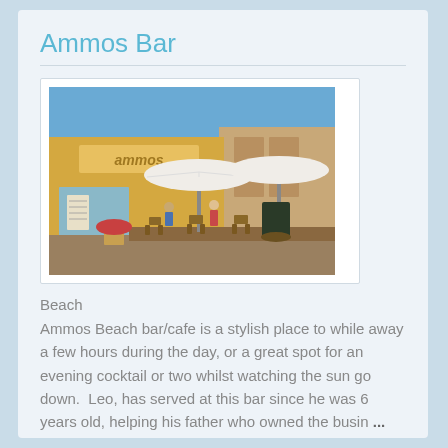Ammos Bar
[Figure (photo): Outdoor photo of Ammos beach bar showing the storefront with yellow signage reading 'ammos', white patio umbrellas, wooden chairs and tables on a terrace, and customers seated outside.]
Beach
Ammos Beach bar/cafe is a stylish place to while away a few hours during the day, or a great spot for an evening cocktail or two whilst watching the sun go down.  Leo, has served at this bar since he was 6 years old, helping his father who owned the busin ...
Telephone  0030 2663051450